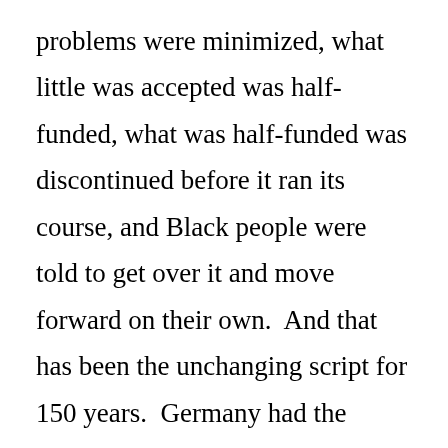problems were minimized, what little was accepted was half-funded, what was half-funded was discontinued before it ran its course, and Black people were told to get over it and move forward on their own.  And that has been the unchanging script for 150 years.  Germany had the Nuremberg trials, South Africa has the Truth and Reconciliation Commission but America never did – never has! – called itself to account for the legacy of slavery.  It sounds blindingly obvious to put it that way and yet 107 years ago when Dubois